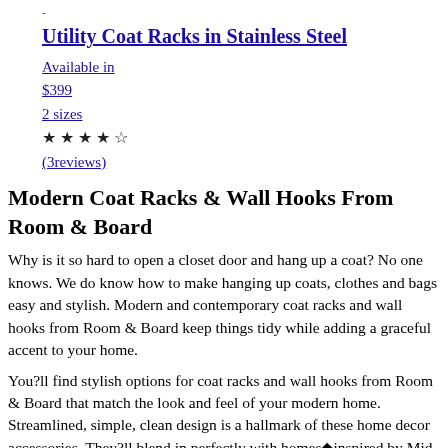-
Utility Coat Racks in Stainless Steel
Available in
$399
2 sizes
★★★★☆(3reviews)
Modern Coat Racks & Wall Hooks From Room & Board
Why is it so hard to open a closet door and hang up a coat? No one knows. We do know how to make hanging up coats, clothes and bags easy and stylish. Modern and contemporary coat racks and wall hooks from Room & Board keep things tidy while adding a graceful accent to your home.
You?ll find stylish options for coat racks and wall hooks from Room & Board that match the look and feel of your modern home. Streamlined, simple, clean design is a hallmark of these home decor accessories. They?ll blend in perfectly with homes�inspired by Mid-Century Modern, Danish Modern, Asian, industrial and other modern styles.